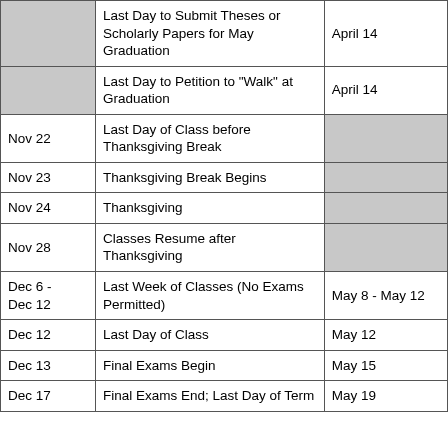| Date (Fall) | Event | Date (Spring) |
| --- | --- | --- |
|  | Last Day to Submit Theses or Scholarly Papers for May Graduation | April 14 |
|  | Last Day to Petition to "Walk" at Graduation | April 14 |
| Nov 22 | Last Day of Class before Thanksgiving Break |  |
| Nov 23 | Thanksgiving Break Begins |  |
| Nov 24 | Thanksgiving |  |
| Nov 28 | Classes Resume after Thanksgiving |  |
| Dec 6 - Dec 12 | Last Week of Classes (No Exams Permitted) | May 8 - May 12 |
| Dec 12 | Last Day of Class | May 12 |
| Dec 13 | Final Exams Begin | May 15 |
| Dec 17 | Final Exams End; Last Day of Term | May 19 |